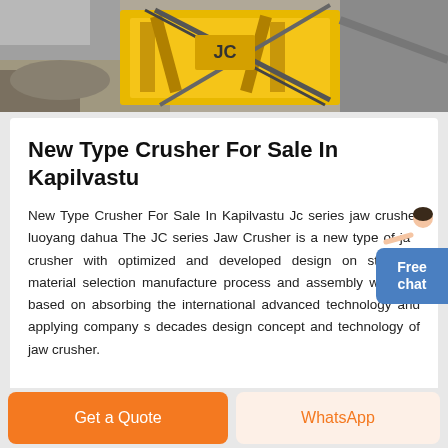[Figure (photo): Photograph of a yellow jaw crusher machine at a quarry/construction site]
New Type Crusher For Sale In Kapilvastu
New Type Crusher For Sale In Kapilvastu Jc series jaw crusher luoyang dahua The JC series Jaw Crusher is a new type of jaw crusher with optimized and developed design on structure material selection manufacture process and assembly which is based on absorbing the international advanced technology and applying company s decades design concept and technology of jaw crusher.
[Figure (illustration): Free chat button with female figure illustration]
Get a Quote
WhatsApp